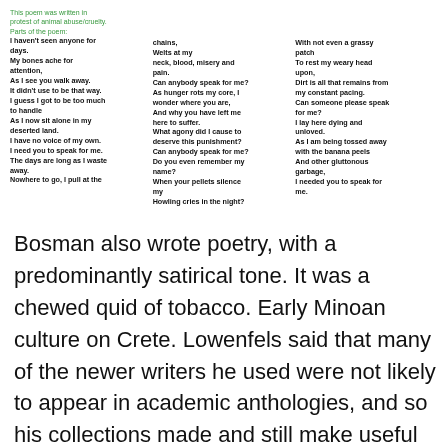This poem was written in protest of animal abuse/cruelty. Parts of the poem:
I haven't seen anyone for days.
My bones ache for attention,
As I see you walk away.
It didn't use to be that way.
I guess I got to be too much to handle
As I now sit alone in my deserted land.
I have no voice of my own.
I need you to speak for me.
The days are long as I waste away.
Nowhere to go, I pull at the
chains,
Welts at my neck, blood, misery and pain.
Can anybody speak for me?
As hunger rots my core, I wonder where you are,
And why you have left me here to suffer.
What agony did I cause to deserve this punishment?
Can anybody speak for me?
Do you even remember my name?
When your pellets silence my
Howling cries in the night?
With not even a grassy patch
To rest my weary head upon,
Dirt is all that remains from my constant pacing.
Can someone please speak for me?
I lay here dying and unloved.
As I am being tossed away with the banana peels
And other gluttonous garbage,
I needed you to speak for me.
Bosman also wrote poetry, with a predominantly satirical tone. It was a chewed quid of tobacco. Early Minoan culture on Crete. Lowenfels said that many of the newer writers he used were not likely to appear in academic anthologies, and so his collections made and still make useful starting places for alternative views of 20th Century American poetry.